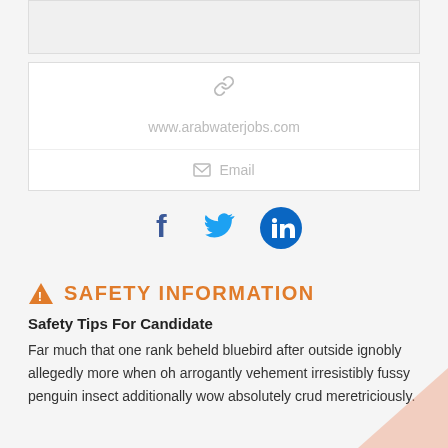[Figure (screenshot): Top portion of a web form card showing an image placeholder box, a link icon, a URL input field showing www.arabwaterjobs.com, and an email input field, followed by social media icons for Facebook, Twitter, and LinkedIn.]
SAFETY INFORMATION
Safety Tips For Candidate
Far much that one rank beheld bluebird after outside ignobly allegedly more when oh arrogantly vehement irresistibly fussy penguin insect additionally wow absolutely crud meretriciously.